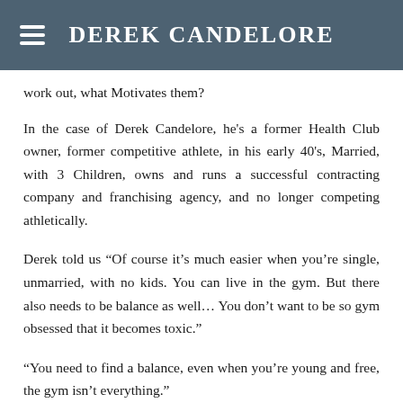DEREK CANDELORE
work out, what Motivates them?
In the case of Derek Candelore, he's a former Health Club owner, former competitive athlete, in his early 40's, Married, with 3 Children, owns and runs a successful contracting company and franchising agency, and no longer competing athletically.
Derek told us “Of course it’s much easier when you’re single, unmarried, with no kids. You can live in the gym. But there also needs to be balance as well… You don’t want to be so gym obsessed that it becomes toxic.”
“You need to find a balance, even when you’re young and free, the gym isn’t everything.”
“I used to be motivated athletically by football or trying to break